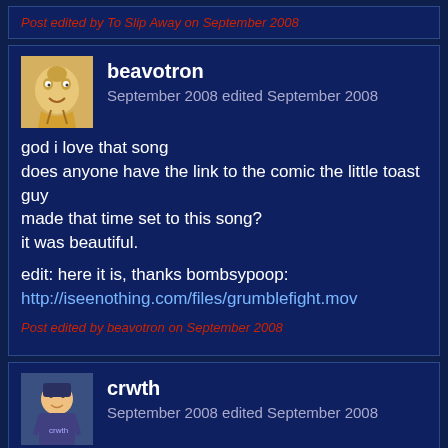Post edited by To Slip Away on September 2008
beavotron
September 2008 edited September 2008
god i love that song
does anyone have the link to the comic the little toast guy made that time set to this song?
it was beautiful.

edit: here it is, thanks bombsypoop:
http://iseenothing.com/files/grumblefight.mov
Post edited by beavotron on September 2008
crwth
September 2008 edited September 2008
there's a video of me drunkenly singing that song at a local karaoke somewhere on my camera